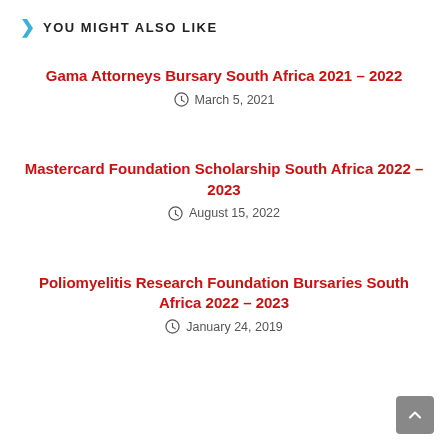YOU MIGHT ALSO LIKE
Gama Attorneys Bursary South Africa 2021 – 2022
March 5, 2021
Mastercard Foundation Scholarship South Africa 2022 – 2023
August 15, 2022
Poliomyelitis Research Foundation Bursaries South Africa 2022 – 2023
January 24, 2019